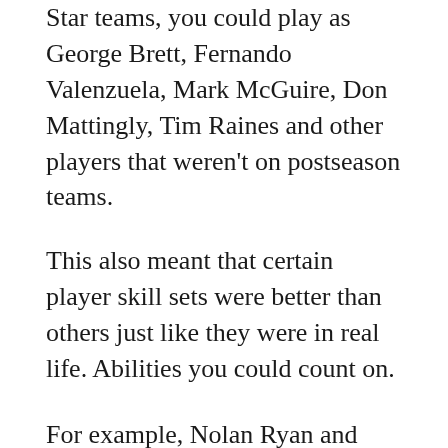Star teams, you could play as George Brett, Fernando Valenzuela, Mark McGuire, Don Mattingly, Tim Raines and other players that weren't on postseason teams.
This also meant that certain player skill sets were better than others just like they were in real life. Abilities you could count on.
For example, Nolan Ryan and Roger Clemens threw the hardest, but Valenzuela had the best movement on his pitches.
Vince Coleman was by far the fastest. In fact, I don't think it is possible to catch him stealing second base, and it was very difficult to catch him stealing third. If Coleman got a lead off hit